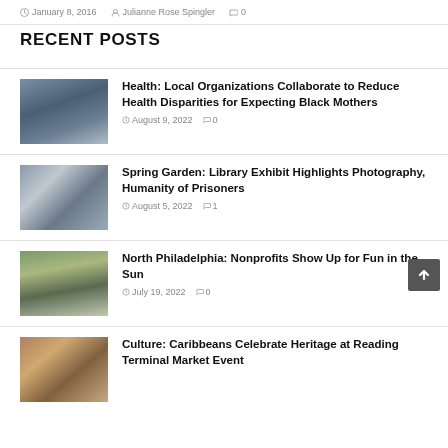January 8, 2016  Julianne Rose Spingler  0
RECENT POSTS
Health: Local Organizations Collaborate to Reduce Health Disparities for Expecting Black Mothers
August 9, 2022  0
Spring Garden: Library Exhibit Highlights Photography, Humanity of Prisoners
August 5, 2022  1
North Philadelphia: Nonprofits Show Up for Fun in the Sun
July 19, 2022  0
Culture: Caribbeans Celebrate Heritage at Reading Terminal Market Event